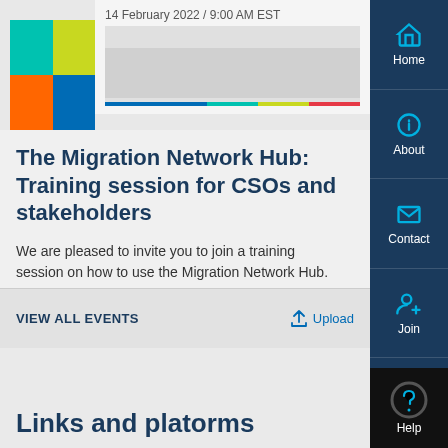[Figure (screenshot): Event banner image with colorful logo block on left and date/colored bar strip on right]
14 February 2022 / 9:00 AM EST
The Migration Network Hub: Training session for CSOs and stakeholders
We are pleased to invite you to join a training session on how to use the Migration Network Hub.
14 February 2022 CET, 3 - 4PM
VIEW ALL EVENTS
Upload
Links and platforms
[Figure (screenshot): Right sidebar navigation with Home, About, Contact, Join, Sign In, and Help buttons on dark navy background]